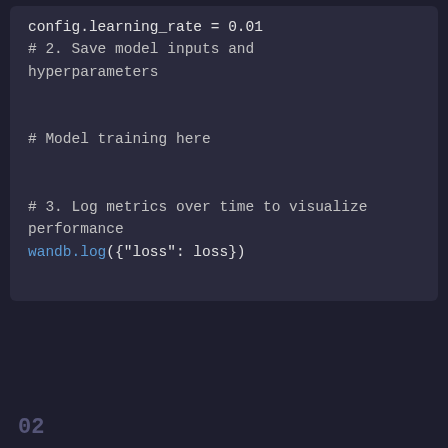[Figure (screenshot): Code editor screenshot showing Python code snippet with wandb logging. Code includes config.learning_rate = 0.01, a comment about saving model inputs and hyperparameters, a comment about model training, a comment about logging metrics over time to visualize performance, and wandb.log({'loss': loss}).]